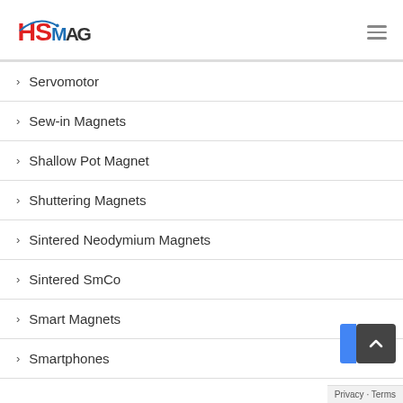HSMAG logo and navigation menu
Servomotor
Sew-in Magnets
Shallow Pot Magnet
Shuttering Magnets
Sintered Neodymium Magnets
Sintered SmCo
Smart Magnets
Smartphones